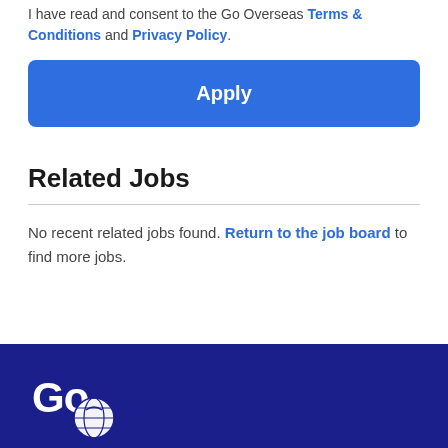I have read and consent to the Go Overseas Terms & Conditions and Privacy Policy.
Apply
Related Jobs
No recent related jobs found. Return to the job board to find more jobs.
[Figure (logo): Go Overseas logo in white on dark navy blue footer background]